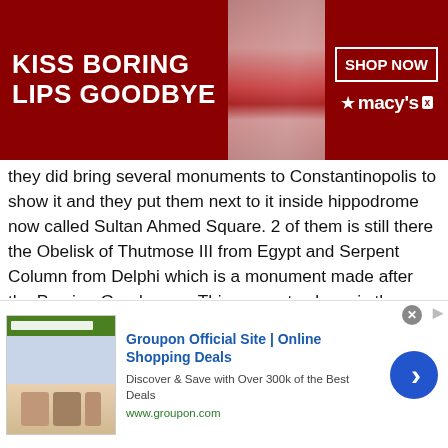[Figure (photo): Advertisement banner: 'KISS BORING LIPS GOODBYE' with woman's face showing red lips, and Macy's 'SHOP NOW' button on dark red background]
they did bring several monuments to Constantinopolis to show it and they put them next to it inside hippodrome now called Sultan Ahmed Square. 2 of them is still there the Obelisk of Thutmose III from Egypt and Serpent Column from Delphi which is a monument made after the Persian-Greek wars. This serpent column is the important one because religious and prophecy activities in Delphi was already banned but it was the center of the world with this monument they wanted to validate that Constantinopolis is now the center of the world. Column's body is still on the square and it had 3 serpent heads, unfortunately 2 of them are lost and 1 of them is in Istanbul Archaeology
[Figure (screenshot): Groupon advertisement: 'Groupon Official Site | Online Shopping Deals — Discover & Save with Over 300k of the Best Deals — www.groupon.com' with thumbnail image and blue arrow button]